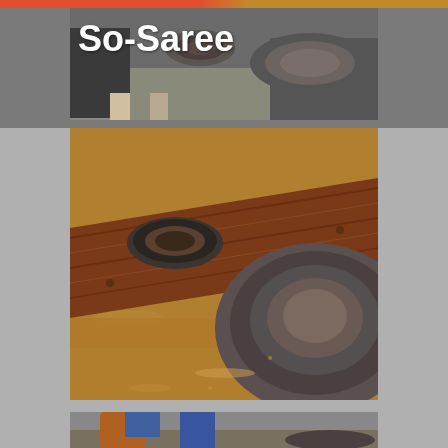So-Saree
[Figure (photo): Close-up photo of metal gold-panning dishes/sieves placed in a wooden sluice box filled with murky brown/tan water, used for gold panning or sluicing.]
[Figure (photo): Partial photo at bottom showing a person's legs wearing jeans and brown boots, standing near panning equipment.]